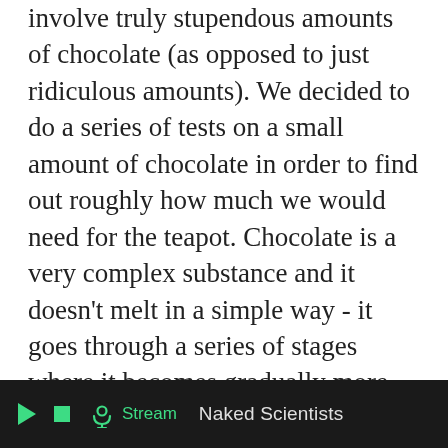involve truly stupendous amounts of chocolate (as opposed to just ridiculous amounts). We decided to do a series of tests on a small amount of chocolate in order to find out roughly how much we would need for the teapot. Chocolate is a very complex substance and it doesn't melt in a simple way - it goes through a series of stages where it becomes gradually more fluid. The teapot could melt enough to become flexible and then the pressure of the tea could cause it to distort and empty its contents onto the floor, without actually melting through the walls. This means that just finding out whether it melts or not isn't very useful. So we needed an experiment that modelled being part of a chocolate teapot wall as closely as possible, while using a sane amount of
▶ ■ (podcast) Stream   Naked Scientists